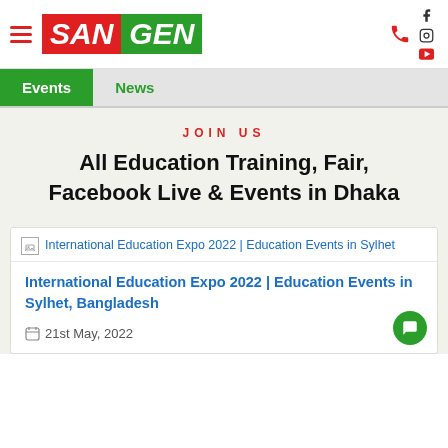SANGEN - navigation header with hamburger menu, logo, phone icon, and social media icons (Facebook, Instagram, YouTube)
Events | News
JOIN US
All Education Training, Fair, Facebook Live & Events in Dhaka
[Figure (photo): Broken image placeholder for International Education Expo 2022 | Education Events in Sylhet]
International Education Expo 2022 | Education Events in Sylhet, Bangladesh
21st May, 2022